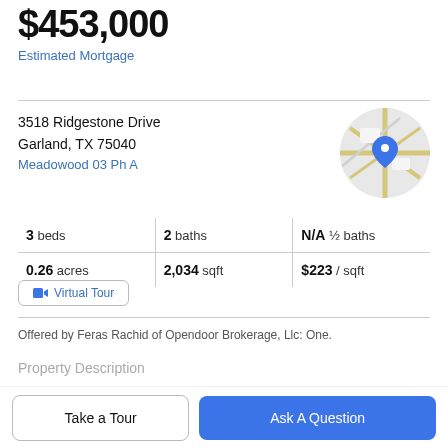$453,000
Estimated Mortgage
3518 Ridgestone Drive
Garland, TX 75040
Meadowood 03 Ph A
[Figure (map): Circular map thumbnail showing Garland TX location with blue map pin marker]
| 3 beds | 2 baths | N/A ½ baths |
| 0.26 acres | 2,034 sqft | $223 / sqft |
Virtual Tour
Offered by Feras Rachid of Opendoor Brokerage, Llc: One.
Property Description
Take a Tour
Ask A Question